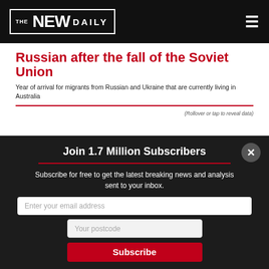THE NEW DAILY
Russian after the fall of the Soviet Union
Year of arrival for migrants from Russian and Ukraine that are currently living in Australia
(Rollover or tap to reveal data)
Join 1.7 Million Subscribers
Subscribe for free to get the latest breaking news and analysis sent to your inbox.
Enter your email address
Your postcode
Subscribe